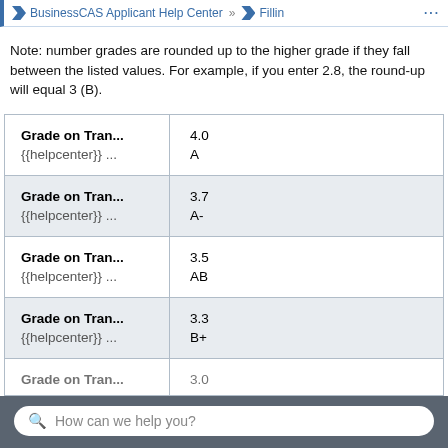BusinessCAS Applicant Help Center » Fillin ...
Note: number grades are rounded up to the higher grade if they fall between the listed values. For example, if you enter 2.8, the round-up will equal 3 (B).
| Grade on Tran... | {{helpcenter}} ... |
| --- | --- |
| Grade on Tran... | 4.0 |
| {{helpcenter}} ... | A |
| Grade on Tran... | 3.7 |
| {{helpcenter}} ... | A- |
| Grade on Tran... | 3.5 |
| {{helpcenter}} ... | AB |
| Grade on Tran... | 3.3 |
| {{helpcenter}} ... | B+ |
| Grade on Tran... | 3.0 |
How can we help you?